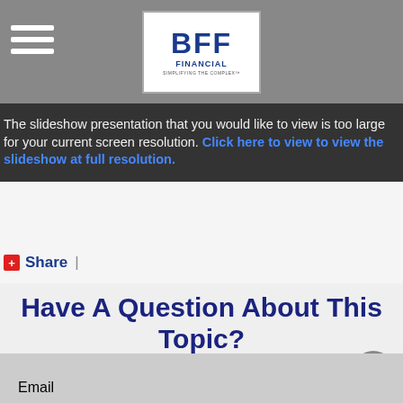BFF Financial — header navigation with logo and hamburger menu
The slideshow presentation that you would like to view is too large for your current screen resolution. Click here to view to view the slideshow at full resolution.
Share |
Have A Question About This Topic?
Name
Email